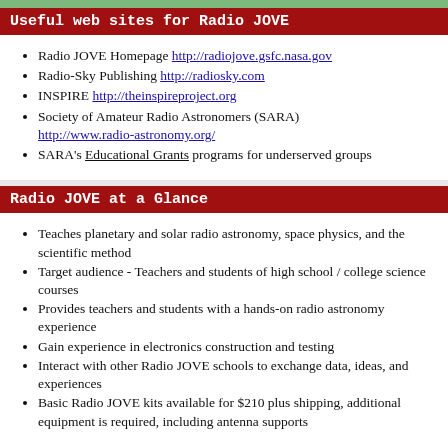Useful web sites for Radio JOVE
Radio JOVE Homepage http://radiojove.gsfc.nasa.gov
Radio-Sky Publishing http://radiosky.com
INSPIRE http://theinspireproject.org
Society of Amateur Radio Astronomers (SARA) http://www.radio-astronomy.org/
SARA's Educational Grants programs for underserved groups
Radio JOVE at a Glance
Teaches planetary and solar radio astronomy, space physics, and the scientific method
Target audience - Teachers and students of high school / college science courses
Provides teachers and students with a hands-on radio astronomy experience
Gain experience in electronics construction and testing
Interact with other Radio JOVE schools to exchange data, ideas, and experiences
Basic Radio JOVE kits available for $210 plus shipping, additional equipment is required, including antenna supports